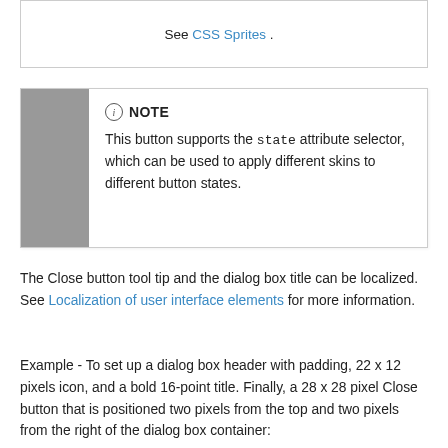See CSS Sprites .
NOTE
This button supports the state attribute selector, which can be used to apply different skins to different button states.
The Close button tool tip and the dialog box title can be localized. See Localization of user interface elements for more information.
Example - To set up a dialog box header with padding, 22 x 12 pixels icon, and a bold 16-point title. Finally, a 28 x 28 pixel Close button that is positioned two pixels from the top and two pixels from the right of the dialog box container: